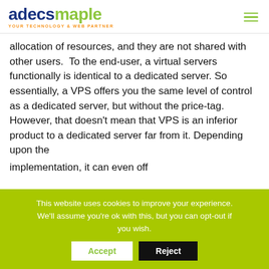adecsmaple YOUR TECHNOLOGY & WEB PARTNER
allocation of resources, and they are not shared with other users.  To the end-user, a virtual servers functionally is identical to a dedicated server. So essentially, a VPS offers you the same level of control as a dedicated server, but without the price-tag. However, that doesn't mean that VPS is an inferior product to a dedicated server far from it. Depending upon the
[partial line cut off]
This website uses cookies to improve your experience. We'll assume you're ok with this, but you can opt-out if you wish.
Accept  Reject